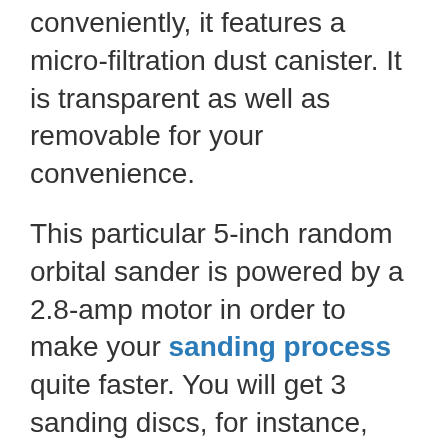conveniently, it features a micro-filtration dust canister. It is transparent as well as removable for your convenience.
This particular 5-inch random orbital sander is powered by a 2.8-amp motor in order to make your sanding process quite faster. You will get 3 sanding discs, for instance, you don't have to expend some extras for purchasing those things.
The rubber-coated grip is convenient to use and it ensures less fatigue even after grabbing for hours. The small shape is a plus in order to reach in a tight area for working purposes. As a lightweight